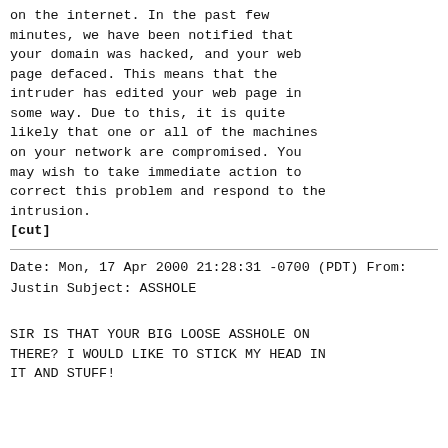on the internet. In the past few minutes, we have been notified that your domain was hacked, and your web page defaced. This means that the intruder has edited your web page in some way. Due to this, it is quite likely that one or all of the machines on your network are compromised. You may wish to take immediate action to correct this problem and respond to the intrusion.
[cut]
Date: Mon, 17 Apr 2000 21:28:31 -0700 (PDT)
From: Justin
Subject: ASSHOLE
SIR IS THAT YOUR BIG LOOSE ASSHOLE ON THERE? I WOULD LIKE TO STICK MY HEAD IN IT AND STUFF!